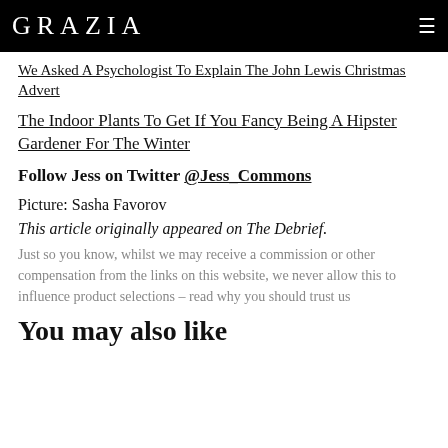GRAZIA
We Asked A Psychologist To Explain The John Lewis Christmas Advert
The Indoor Plants To Get If You Fancy Being A Hipster Gardener For The Winter
Follow Jess on Twitter @Jess_Commons
Picture: Sasha Favorov
This article originally appeared on The Debrief.
Just so you know, whilst we may receive a commission or other compensation from the links on this website, we never allow this to influence product selections – read why you should trust us
You may also like